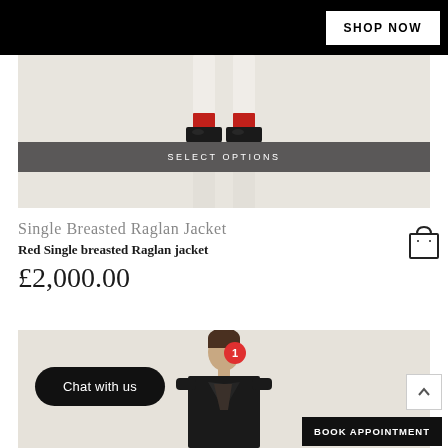[Figure (screenshot): Top black navigation bar with SHOP NOW button]
[Figure (photo): Product image showing lower legs and feet of model wearing red socks and black shoes on light background]
SELECT OPTIONS
Single Breasted Raglan Jacket
Red Single breasted Raglan jacket
£2,000.00
[Figure (photo): Model wearing dark single breasted raglan jacket, upper body visible, light background]
Chat with us
BOOK APPOINTMENT